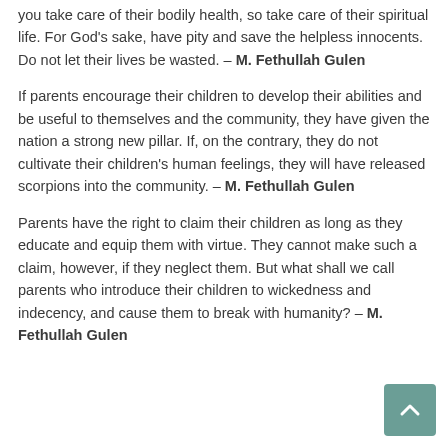you take care of their bodily health, so take care of their spiritual life. For God's sake, have pity and save the helpless innocents. Do not let their lives be wasted. – M. Fethullah Gulen
If parents encourage their children to develop their abilities and be useful to themselves and the community, they have given the nation a strong new pillar. If, on the contrary, they do not cultivate their children's human feelings, they will have released scorpions into the community. – M. Fethullah Gulen
Parents have the right to claim their children as long as they educate and equip them with virtue. They cannot make such a claim, however, if they neglect them. But what shall we call parents who introduce their children to wickedness and indecency, and cause them to break with humanity? – M. Fethullah Gulen